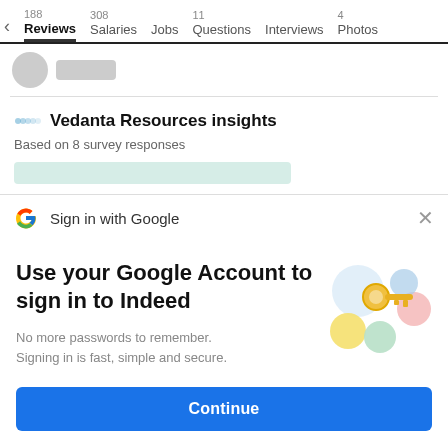188 Reviews  308 Salaries  Jobs  11 Questions  Interviews  4 Photos
Vedanta Resources insights
Based on 8 survey responses
Sign in with Google
Use your Google Account to sign in to Indeed
No more passwords to remember. Signing in is fast, simple and secure.
[Figure (illustration): Google sign-in illustration with a gold key and circular shapes in blue, yellow, green and red/pink]
Continue